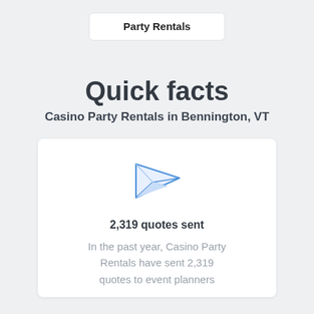Party Rentals
Quick facts
Casino Party Rentals in Bennington, VT
[Figure (illustration): Paper airplane icon in blue outline style]
2,319 quotes sent
In the past year, Casino Party Rentals have sent 2,319 quotes to event planners